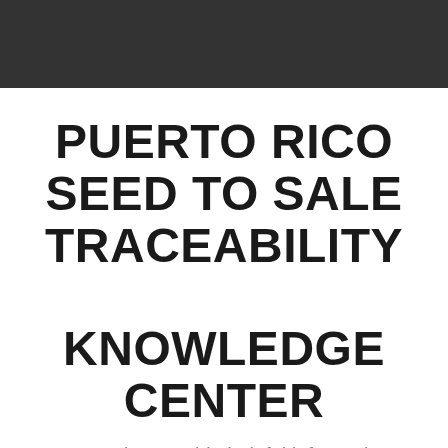PUERTO RICO SEED TO SALE TRACEABILITY KNOWLEDGE CENTER
Created to provide helpful information about the Puerto Rico Cannabis Industry.